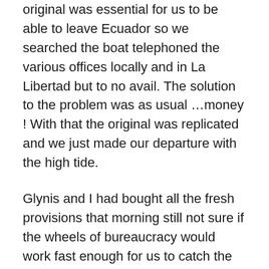original was essential for us to be able to leave Ecuador so we searched the boat telephoned the various offices locally and in La Libertad but to no avail. The solution to the problem was as usual …money ! With that the original was replicated and we just made our departure with the high tide.
Glynis and I had bought all the fresh provisions that morning still not sure if the wheels of bureaucracy would work fast enough for us to catch the tide but they did and Pedro the pilot arrived with all the papers and we were away out of the river into the sea at 14.30. The first few hours were motor sailing into quite a head wind and the waves so a rough start. We crossed Manta bay that evening and the nest day dawned gray and cool ,the effect of the cold Humboldt current which remained with us until